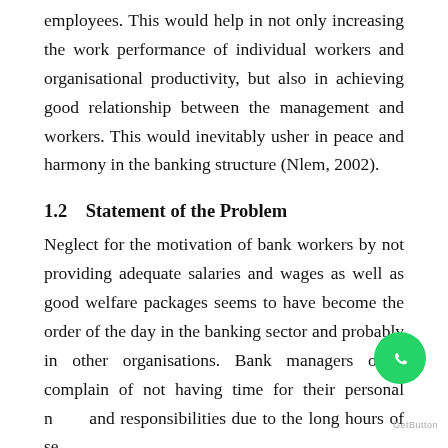employees. This would help in not only increasing the work performance of individual workers and organisational productivity, but also in achieving good relationship between the management and workers. This would inevitably usher in peace and harmony in the banking structure (Nlem, 2002).
1.2    Statement of the Problem
Neglect for the motivation of bank workers by not providing adequate salaries and wages as well as good welfare packages seems to have become the order of the day in the banking sector and probably in other organisations. Bank managers often complain of not having time for their personal needs and responsibilities due to the long hours of service